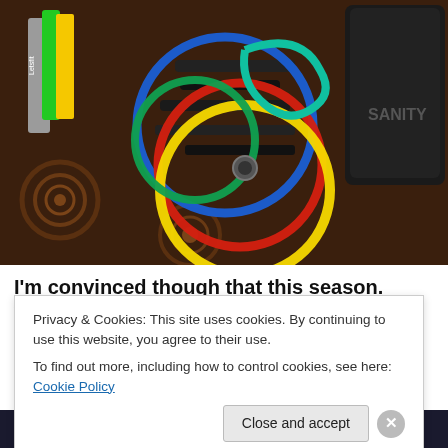[Figure (photo): Colorful resistance bands (blue, red, green, yellow) coiled on a patterned brown carpet, with a black bag labeled 'SANITY' and green/yellow flat resistance bands in upper left corner labeled 'Letsfit'.]
I'm convinced though that this season. while full of
Privacy & Cookies: This site uses cookies. By continuing to use this website, you agree to their use.
To find out more, including how to control cookies, see here: Cookie Policy
Professionally designed sites in less than a week